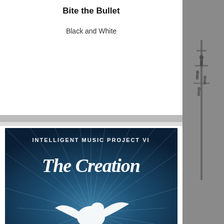Bite the Bullet
Black and White
[Figure (illustration): Album art for Intelligent Music Project VI - The Creation. Dark teal/blue background with radiating light beams and a white dove silhouette in the center. Text reads INTELLIGENT MUSIC PROJECT VI and THE CREATION in stylized brush lettering.]
[Figure (illustration): Right side partial image showing a black and white photo of figures on a structure or tower.]